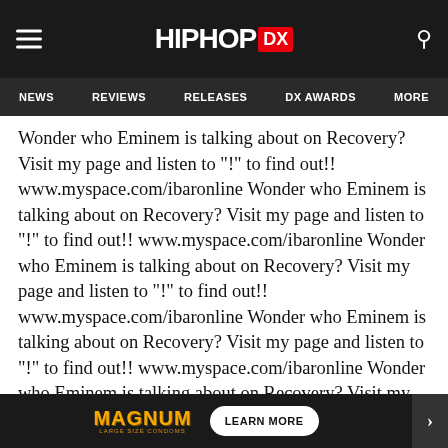HipHopDX
NEWS  REVIEWS  RELEASES  DX AWARDS  MORE
Wonder who Eminem is talking about on Recovery? Visit my page and listen to "!" to find out!! www.myspace.com/ibaronline Wonder who Eminem is talking about on Recovery? Visit my page and listen to "!" to find out!! www.myspace.com/ibaronline Wonder who Eminem is talking about on Recovery? Visit my page and listen to "!" to find out!! www.myspace.com/ibaronline Wonder who Eminem is talking about on Recovery? Visit my page and listen to "!" to find out!! www.myspace.com/ibaronline Wonder who Eminem is talking about on Recovery? Visit my page and listen to "!" to find out!! www.myspace.com/ibaronline Wonder who Eminem is talking about on Recovery? Visit my page and listen to "!" to find out!! www.myspace.com/ibaronline Wonder who Eminem is talking about on Recovery? Visit my pa... www... is talkin..."!!
[Figure (screenshot): Magnum large size condoms advertisement overlay with 'LEARN MORE' button and arrow navigation button on right]